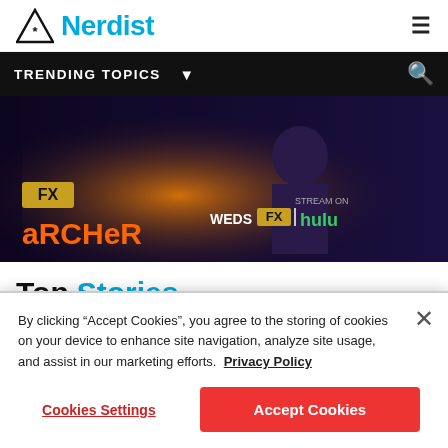Nerdist
TRENDING TOPICS
[Figure (screenshot): Advertisement banner for FX Archer - animated show, text reads 'ARCHER WEDS FX | STREAM ON hulu']
Top Stories
By clicking “Accept Cookies”, you agree to the storing of cookies on your device to enhance site navigation, analyze site usage, and assist in our marketing efforts. Privacy Policy
Cookies Settings | Accept Cookies